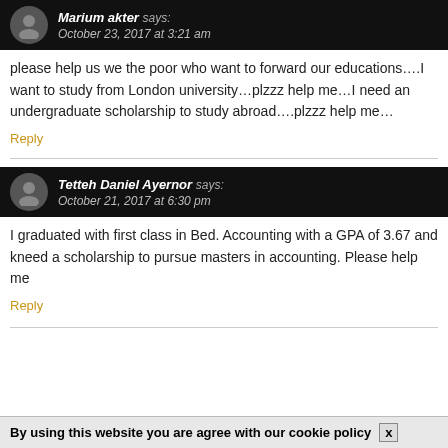Marium akter says: October 23, 2017 at 3:21 am
please help us we the poor who want to forward our educations….I want to study from London university…plzzz help me…I need an undergraduate scholarship to study abroad….plzzz help me…
Reply
Tetteh Daniel Ayernor says: October 21, 2017 at 6:30 pm
I graduated with first class in Bed. Accounting with a GPA of 3.67 and kneed a scholarship to pursue masters in accounting. Please help me
Reply
By using this website you are agree with our cookie policy